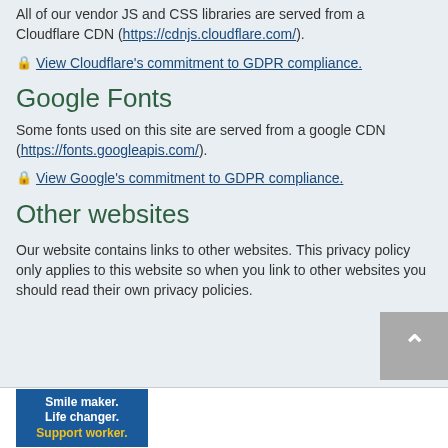All of our vendor JS and CSS libraries are served from a Cloudflare CDN (https://cdnjs.cloudflare.com/).
🔒 View Cloudflare's commitment to GDPR compliance.
Google Fonts
Some fonts used on this site are served from a google CDN (https://fonts.googleapis.com/).
🔒 View Google's commitment to GDPR compliance.
Other websites
Our website contains links to other websites. This privacy policy only applies to this website so when you link to other websites you should read their own privacy policies.
[Figure (infographic): Teal/blue banner ad with text: Smile maker. Life changer. Support worker.]